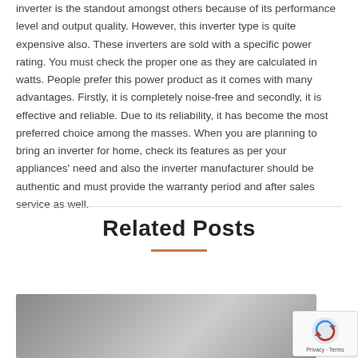inverter is the standout amongst others because of its performance level and output quality. However, this inverter type is quite expensive also. These inverters are sold with a specific power rating. You must check the proper one as they are calculated in watts. People prefer this power product as it comes with many advantages. Firstly, it is completely noise-free and secondly, it is effective and reliable. Due to its reliability, it has become the most preferred choice among the masses. When you are planning to bring an inverter for home, check its features as per your appliances' need and also the inverter manufacturer should be authentic and must provide the warranty period and after sales service as well.
Related Posts
[Figure (photo): Partial photo of a dark blurry subject with bokeh background]